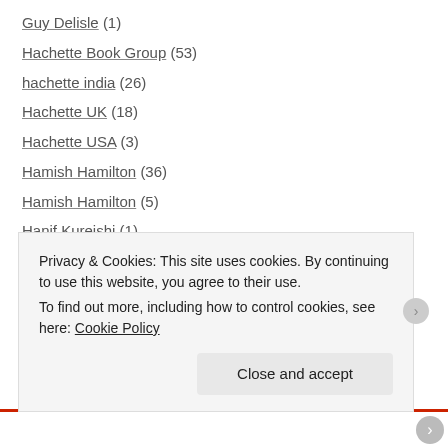Guy Delisle (1)
Hachette Book Group (53)
hachette india (26)
Hachette UK (18)
Hachette USA (3)
Hamish Hamilton (36)
Hamish Hamilton (5)
Hanif Kureishi (1)
Hanya Yanagihara (1)
Harcourt (3)
Harper (23)
Harper Collins (67)
Harper Collins India (44)
Privacy & Cookies: This site uses cookies. By continuing to use this website, you agree to their use.
To find out more, including how to control cookies, see here: Cookie Policy
Close and accept